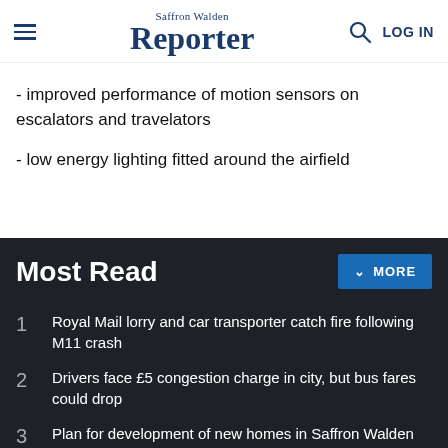Saffron Walden Reporter
- improved performance of motion sensors on escalators and travelators
- low energy lighting fitted around the airfield
Most Read
1  Royal Mail lorry and car transporter catch fire following M11 crash
2  Drivers face £5 congestion charge in city, but bus fares could drop
3  Plan for development of new homes in Saffron Walden delayed
Receive the top news, sport and things to do, sent to your inbox...